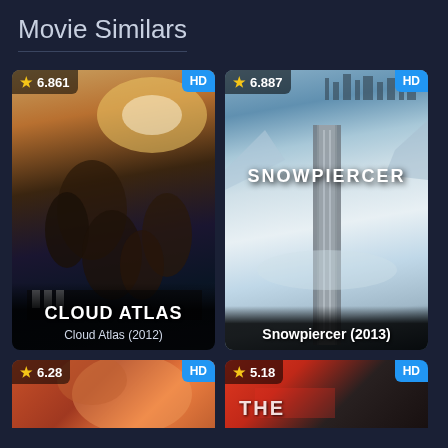Movie Similars
[Figure (illustration): Movie poster for Cloud Atlas (2012) with rating 6.861 and HD badge. Shows ensemble cast on a dramatic cosmic background. Title 'CLOUD ATLAS' displayed at bottom.]
[Figure (illustration): Movie poster for Snowpiercer (2013) with rating 6.887 and HD badge. Shows a train cutting through icy landscape with 'SNOWPIERCER' text and city skyline. Title 'Snowpiercer (2013)' at bottom.]
[Figure (illustration): Partial movie card with rating 6.28 and HD badge. Warm orange/red tones, partially visible.]
[Figure (illustration): Partial movie card with rating 5.18 and HD badge. Red/dark tones with partial text 'THE' visible, partially cut off.]